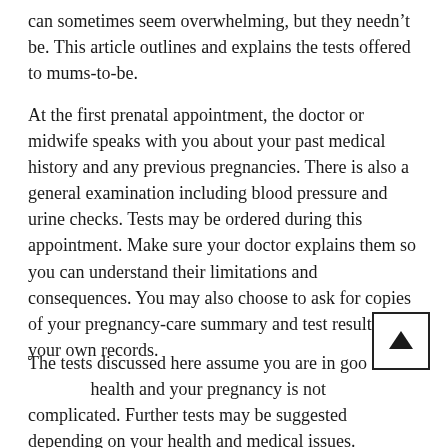can sometimes seem overwhelming, but they needn't be. This article outlines and explains the tests offered to mums-to-be.
At the first prenatal appointment, the doctor or midwife speaks with you about your past medical history and any previous pregnancies. There is also a general examination including blood pressure and urine checks. Tests may be ordered during this appointment. Make sure your doctor explains them so you can understand their limitations and consequences. You may also choose to ask for copies of your pregnancy-care summary and test results for your own records.
The tests discussed here assume you are in good health and your pregnancy is not complicated. Further tests may be suggested depending on your health and medical issues.